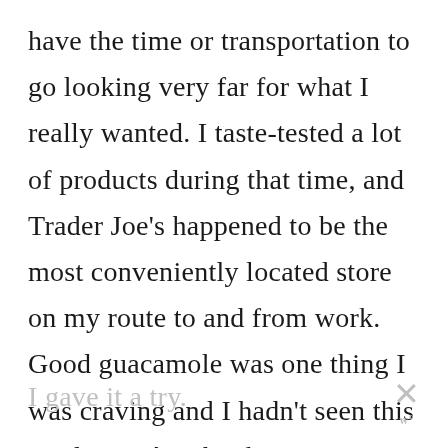have the time or transportation to go looking very far for what I really wanted. I taste-tested a lot of products during that time, and Trader Joe's happened to be the most conveniently located store on my route to and from work. Good guacamole was one thing I was craving and I hadn't seen this Trader José's Chunky Spicy version before so
I gave it a try.